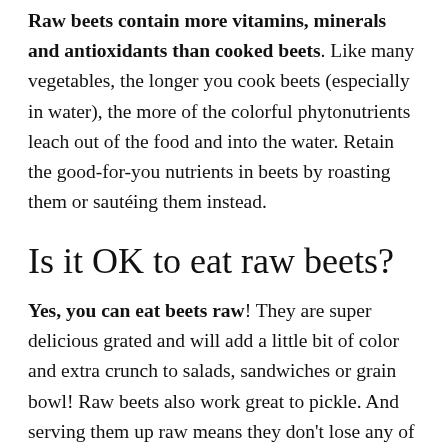Raw beets contain more vitamins, minerals and antioxidants than cooked beets. Like many vegetables, the longer you cook beets (especially in water), the more of the colorful phytonutrients leach out of the food and into the water. Retain the good-for-you nutrients in beets by roasting them or sautéing them instead.
Is it OK to eat raw beets?
Yes, you can eat beets raw! They are super delicious grated and will add a little bit of color and extra crunch to salads, sandwiches or grain bowl! Raw beets also work great to pickle. And serving them up raw means they don't lose any of